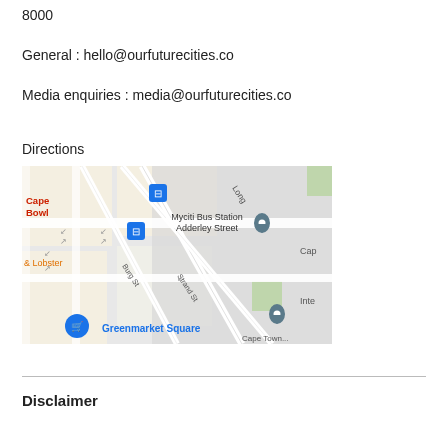8000
General : hello@ourfuturecities.co
Media enquiries : media@ourfuturecities.co
Directions
[Figure (map): Google Maps screenshot showing Cape Town city centre area around Greenmarket Square, Myciti Bus Station Adderley Street, Burg St, Strand St, Long Street, with location pins.]
Disclaimer